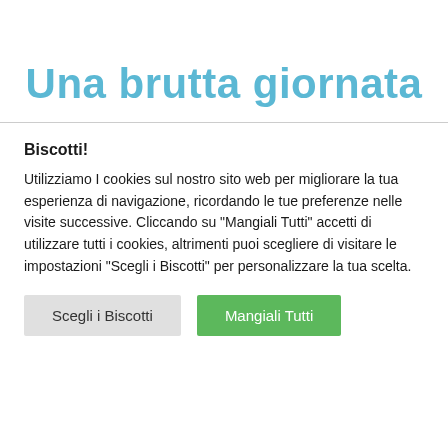Una brutta giornata
Biscotti!
Utilizziamo I cookies sul nostro sito web per migliorare la tua esperienza di navigazione, ricordando le tue preferenze nelle visite successive. Cliccando su "Mangiali Tutti" accetti di utilizzare tutti i cookies, altrimenti puoi scegliere di visitare le impostazioni "Scegli i Biscotti" per personalizzare la tua scelta.
Scegli i Biscotti | Mangiali Tutti